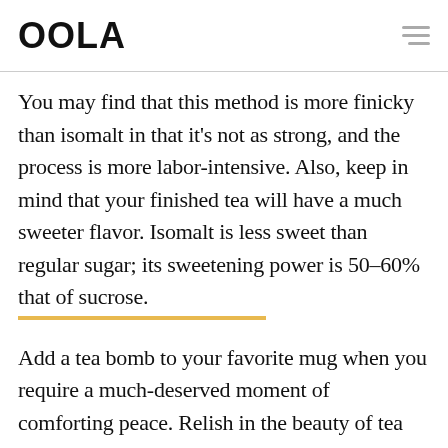OOLA
You may find that this method is more finicky than isomalt in that it’s not as strong, and the process is more labor-intensive. Also, keep in mind that your finished tea will have a much sweeter flavor. Isomalt is less sweet than regular sugar; its sweetening power is 50–60% that of sucrose.
Add a tea bomb to your favorite mug when you require a much-deserved moment of comforting peace. Relish in the beauty of tea